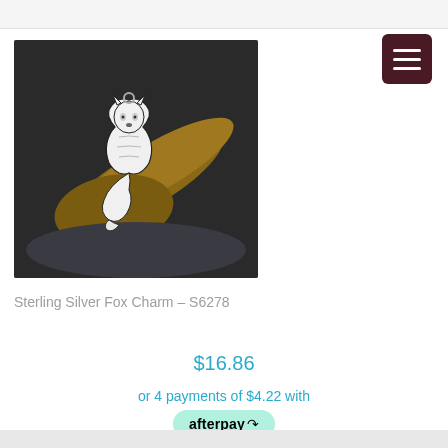[Figure (photo): Product photo of a sterling silver fox charm pendant, showing a detailed sitting fox design with curled tail, resting against a piece of driftwood on a dark background.]
Sterling Silver Fox Charm – S6278
$16.86
or 4 payments of $4.22 with
[Figure (logo): Afterpay logo badge — green rounded pill shape with 'afterpay' text and circular arrow symbol]